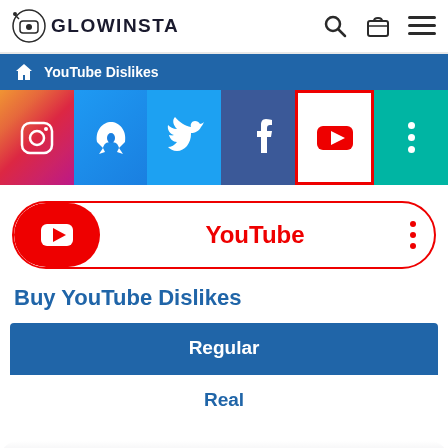GLOWINSTA - navigation header with search, cart, and menu icons
YouTube Dislikes (breadcrumb)
[Figure (illustration): Row of 6 social media icon tiles: Instagram (gradient), Boost/Rocket (blue), Twitter (blue), Facebook (dark blue), YouTube (red/white bordered, active), More dots (teal)]
[Figure (illustration): YouTube pill/banner with red left badge containing YouTube play icon and 'YouTube' label in red text with three dots menu]
Buy YouTube Dislikes
| Regular |
| Real |